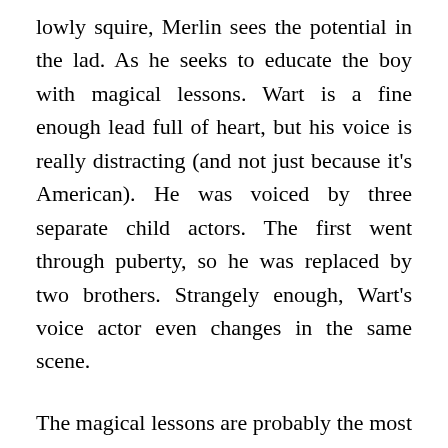lowly squire, Merlin sees the potential in the lad. As he seeks to educate the boy with magical lessons. Wart is a fine enough lead full of heart, but his voice is really distracting (and not just because it's American). He was voiced by three separate child actors. The first went through puberty, so he was replaced by two brothers. Strangely enough, Wart's voice actor even changes in the same scene.
The magical lessons are probably the most memorable scenes outside of the titular climax. Merlin's magic shows Wart the perspective of a fish from the sea, a squirrel from the land, and a bird from the air. The squirrel segment always stood out to me the